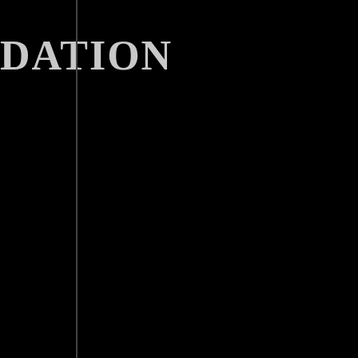DATION
than non-epileptic populations and that this
eogenous and Consciousness Psychology and Psychotherapy
Parapsychology and Psychical Research